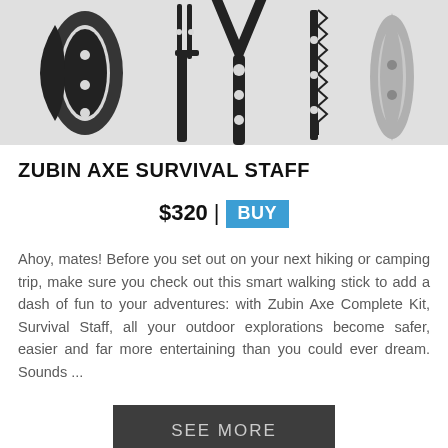[Figure (photo): Product photo showing multiple components of the Zubin Axe Survival Staff laid out on a white background: a hatchet/axe head, a fork-shaped piece, a larger Y-shaped piece, a saw blade, and a teardrop-shaped piece, all in black except the last which is silver/grey.]
ZUBIN AXE SURVIVAL STAFF
$320 | BUY
Ahoy, mates! Before you set out on your next hiking or camping trip, make sure you check out this smart walking stick to add a dash of fun to your adventures: with Zubin Axe Complete Kit, Survival Staff, all your outdoor explorations become safer, easier and far more entertaining than you could ever dream. Sounds ...
SEE MORE